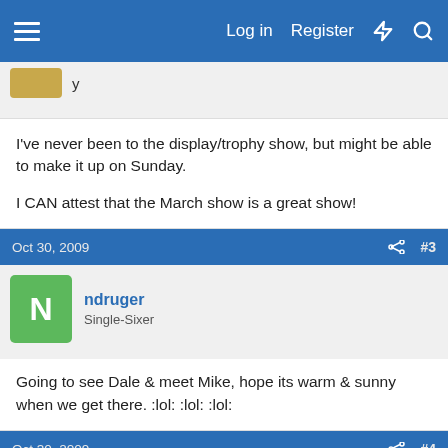Log in  Register
I've never been to the display/trophy show, but might be able to make it up on Sunday.

I CAN attest that the March show is a great show!
Oct 30, 2009  #3
ndruger
Single-Sixer
Going to see Dale & meet Mike, hope its warm & sunny when we get there. :lol: :lol: :lol:
Oct 30, 2009  #4
Johnnu2